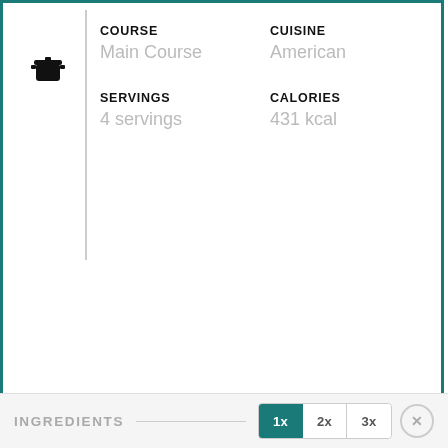[Figure (illustration): Cooking pot icon (black silhouette)]
COURSE
Main Course
CUISINE
American
SERVINGS
4 servings
CALORIES
431 kcal
INGREDIENTS
1x
2x
3x